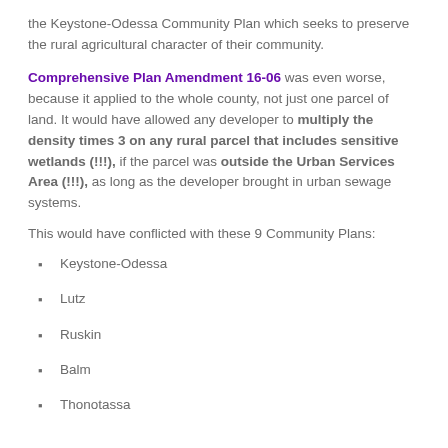the Keystone-Odessa Community Plan which seeks to preserve the rural agricultural character of their community.
Comprehensive Plan Amendment 16-06 was even worse, because it applied to the whole county, not just one parcel of land. It would have allowed any developer to multiply the density times 3 on any rural parcel that includes sensitive wetlands (!!!), if the parcel was outside the Urban Services Area (!!!), as long as the developer brought in urban sewage systems.
This would have conflicted with these 9 Community Plans:
Keystone-Odessa
Lutz
Ruskin
Balm
Thonotassa